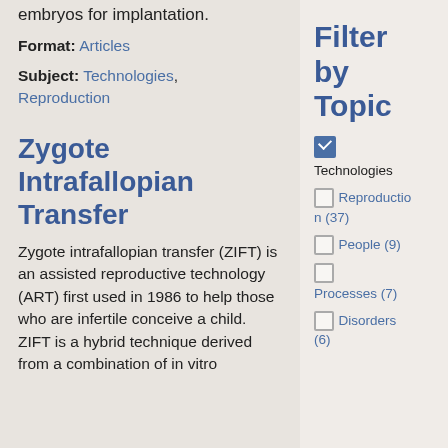embryos for implantation.
Format: Articles
Subject: Technologies, Reproduction
Zygote Intrafallopian Transfer
Zygote intrafallopian transfer (ZIFT) is an assisted reproductive technology (ART) first used in 1986 to help those who are infertile conceive a child. ZIFT is a hybrid technique derived from a combination of in vitro
Filter by Topic
Technologies (checked)
Reproduction (37)
People (9)
Processes (7)
Disorders (6)